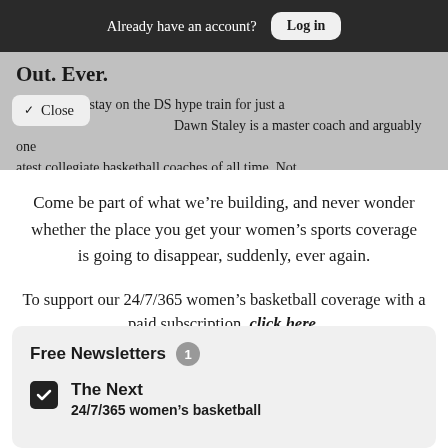Already have an account? Log in
Out. Ever.
Allow me to stay on the DS hype train for just a Dawn Staley is a master coach and arguably one atest collegiate basketball coaches of all time. Not
Come be part of what we’re building, and never wonder whether the place you get your women’s sports coverage is going to disappear, suddenly, ever again.
To support our 24/7/365 women’s basketball coverage with a paid subscription, click here.
Free Newsletters 1
The Next
24/7/365 women's basketball